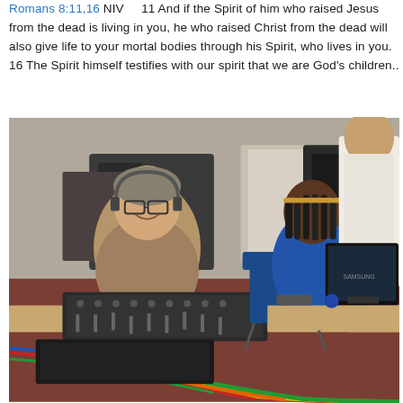Romans 8:11,16 NIV    11 And if the Spirit of him who raised Jesus from the dead is living in you, he who raised Christ from the dead will also give life to your mortal bodies through his Spirit, who lives in you. 16 The Spirit himself testifies with our spirit that we are God's children..
[Figure (photo): Indoor photo showing two people at a table with audio/video equipment. On the left, a middle-aged man wearing glasses and headphones sits behind an audio mixing board with colorful cables (red, yellow, green) running across the floor. On the right, a young woman with braids sits at a desk using a Samsung computer monitor. A third person stands in the background wearing a white sweater. The room appears to be a community hall or church with a dark red floor.]